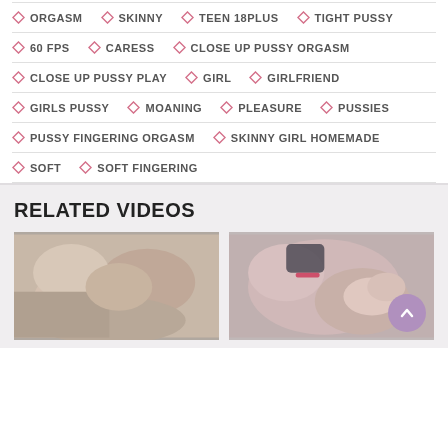ORGASM
SKINNY
TEEN 18PLUS
TIGHT PUSSY
60 FPS
CARESS
CLOSE UP PUSSY ORGASM
CLOSE UP PUSSY PLAY
GIRL
GIRLFRIEND
GIRLS PUSSY
MOANING
PLEASURE
PUSSIES
PUSSY FINGERING ORGASM
SKINNY GIRL HOMEMADE
SOFT
SOFT FINGERING
RELATED VIDEOS
[Figure (photo): Video thumbnail showing close-up skin/body]
[Figure (photo): Video thumbnail showing close-up skin/body with scroll-to-top button overlay]